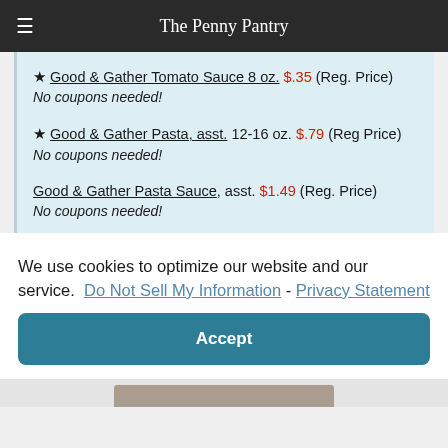The Penny Pantry
★ Good & Gather Tomato Sauce 8 oz. $.35 (Reg. Price) No coupons needed!
★ Good & Gather Pasta, asst. 12-16 oz. $.79 (Reg Price) No coupons needed!
Good & Gather Pasta Sauce, asst. $1.49 (Reg. Price) No coupons needed!
We use cookies to optimize our website and our service. Do Not Sell My Information - Privacy Statement
Accept